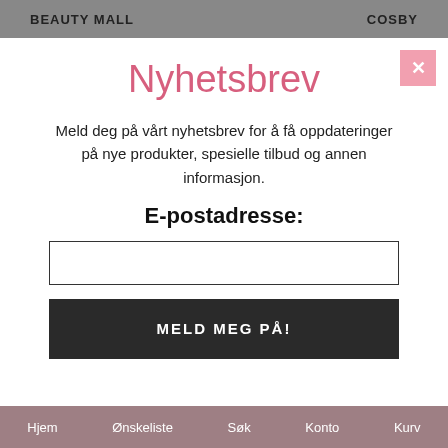BEAUTY MALL   COSBY
Nyhetsbrev
Meld deg på vårt nyhetsbrev for å få oppdateringer på nye produkter, spesielle tilbud og annen informasjon.
E-postadresse:
Hjem   Ønskeliste   Søk   Konto   Kurv